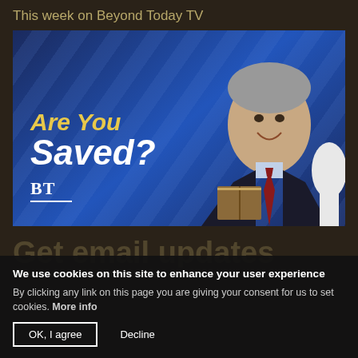This week on Beyond Today TV
[Figure (screenshot): TV show promotional image with blue diagonal background showing a smiling older man in a dark suit holding an open book, with text 'Are You Saved?' and BT logo overlay]
We use cookies on this site to enhance your user experience
By clicking any link on this page you are giving your consent for us to set cookies. More info
OK, I agree   Decline
Get email updates
Stay current with the latest news from ucg.org